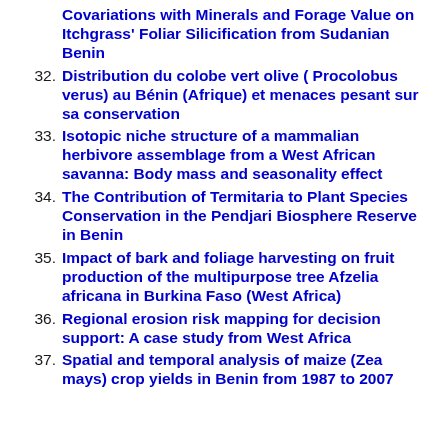Covariations with Minerals and Forage Value on Itchgrass’ Foliar Silicification from Sudanian Benin
32. Distribution du colobe vert olive ( Procolobus verus) au Bénin (Afrique) et menaces pesant sur sa conservation
33. Isotopic niche structure of a mammalian herbivore assemblage from a West African savanna: Body mass and seasonality effect
34. The Contribution of Termitaria to Plant Species Conservation in the Pendjari Biosphere Reserve in Benin
35. Impact of bark and foliage harvesting on fruit production of the multipurpose tree Afzelia africana in Burkina Faso (West Africa)
36. Regional erosion risk mapping for decision support: A case study from West Africa
37. Spatial and temporal analysis of maize (Zea mays) crop yields in Benin from 1987 to 2007